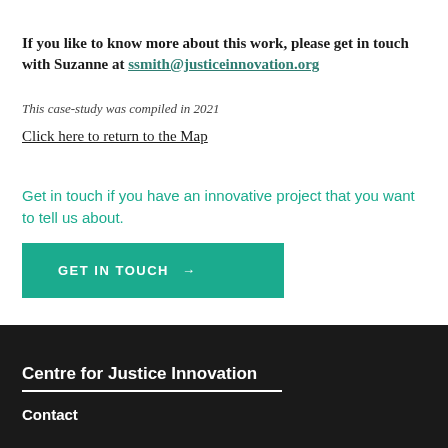If you like to know more about this work, please get in touch with Suzanne at ssmith@justiceinnovation.org
This case-study was compiled in 2021
Click here to return to the Map
Get in touch if you have an innovative project that you want to tell us about.
GET IN TOUCH →
Centre for Justice Innovation
Contact